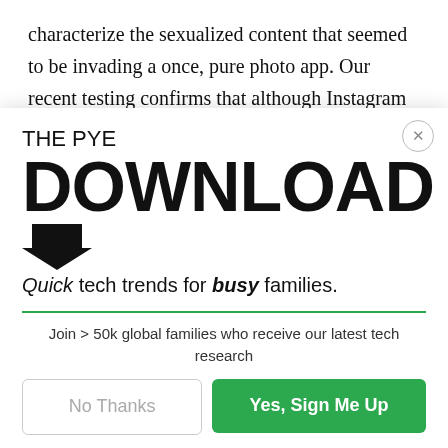characterize the sexualized content that seemed to be invading a once, pure photo app. Our recent testing confirms that although Instagram has clear Community Guidelines, they aren't enforcing them. Both Forbes and
[Figure (screenshot): Modal popup overlay for 'The Pye Download' newsletter signup. Contains title 'THE PYE', large bold 'DOWNLOAD' text with arrow icon, tagline 'Quick tech trends for busy families.', a green horizontal rule, text 'Join > 50k global families who receive our latest tech research', and two buttons: 'No Thanks' and 'Yes, Sign Me Up' (green). A close button (X) is in the top right corner.]